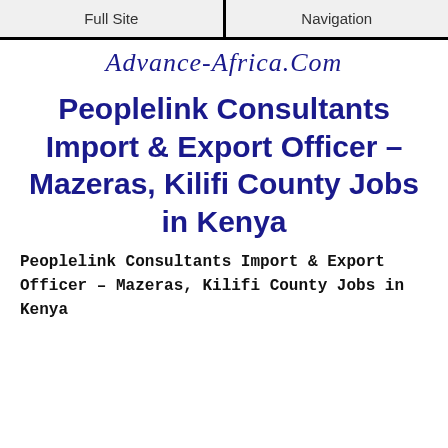Full Site | Navigation
[Figure (logo): Advance-Africa.Com cursive logo in dark blue italic script]
Peoplelink Consultants Import & Export Officer – Mazeras, Kilifi County Jobs in Kenya
Peoplelink Consultants Import & Export Officer – Mazeras, Kilifi County Jobs in Kenya